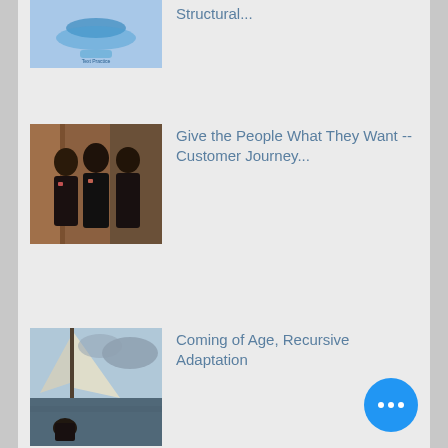[Figure (screenshot): Mobile app list view showing article thumbnails and titles]
Structural...
Give the People What They Want -- Customer Journey...
Coming of Age, Recursive Adaptation
Interviews and Source -- Mutual